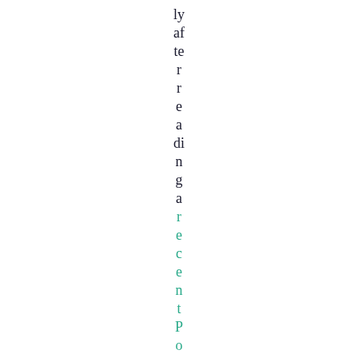ly after reading a recent Post